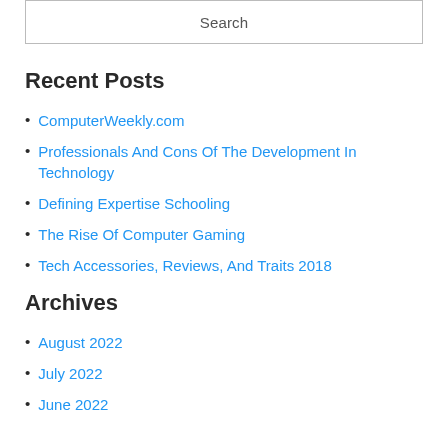Search
Recent Posts
ComputerWeekly.com
Professionals And Cons Of The Development In Technology
Defining Expertise Schooling
The Rise Of Computer Gaming
Tech Accessories, Reviews, And Traits 2018
Archives
August 2022
July 2022
June 2022